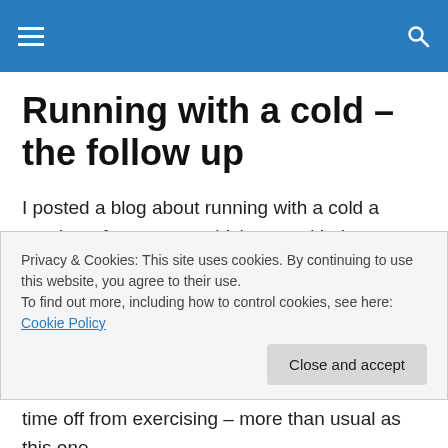Navigation header with hamburger menu and search icon
Running with a cold – the follow up
I posted a blog about running with a cold a number of years ago which was a kinda experiment about wether running with a cold was wise or not. I decided that it did depend on a number of factors. Above head, below head, can you breathe? Can you get out of bed? Do you just feel
Privacy & Cookies: This site uses cookies. By continuing to use this website, you agree to their use.
To find out more, including how to control cookies, see here: Cookie Policy
time off from exercising – more than usual as this one